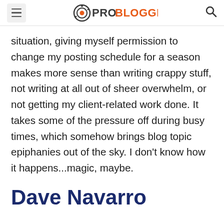PROBLOGGER
situation, giving myself permission to change my posting schedule for a season makes more sense than writing crappy stuff, not writing at all out of sheer overwhelm, or not getting my client-related work done. It takes some of the pressure off during busy times, which somehow brings blog topic epiphanies out of the sky. I don't know how it happens...magic, maybe.
Dave Navarro